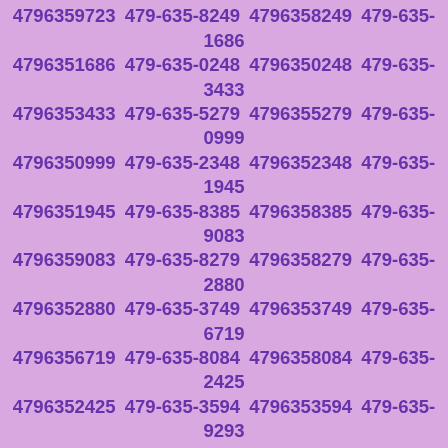4796355637 479-635-8157 4796358157 479-635-5444 4796355444 479-635-9366 4796359366 479-635-7099 4796357099 479-635-7429 4796357429 479-635-4212 4796354212 479-635-6449 4796356449 479-635-9577 4796359577 479-635-6318 4796356318 479-635-3380 4796353380 479-635-5951 4796355951 479-635-9723 4796359723 479-635-8249 4796358249 479-635-1686 4796351686 479-635-0248 4796350248 479-635-3433 4796353433 479-635-5279 4796355279 479-635-0999 4796350999 479-635-2348 4796352348 479-635-1945 4796351945 479-635-8385 4796358385 479-635-9083 4796359083 479-635-8279 4796358279 479-635-2880 4796352880 479-635-3749 4796353749 479-635-6719 4796356719 479-635-8084 4796358084 479-635-2425 4796352425 479-635-3594 4796353594 479-635-9293 4796359293 479-635-9246 4796359246 479-635-3912 4796353912 479-635-4416 4796354416 479-635-8707 4796358707 479-635-1073 4796351073 479-635-7288 4796357288 479-635-3596 4796353596 479-635-0507 4796350507 479-635-5541 4796355541 479-635-0740 4796350740 479-635-5264 4796355264 479-635-1640